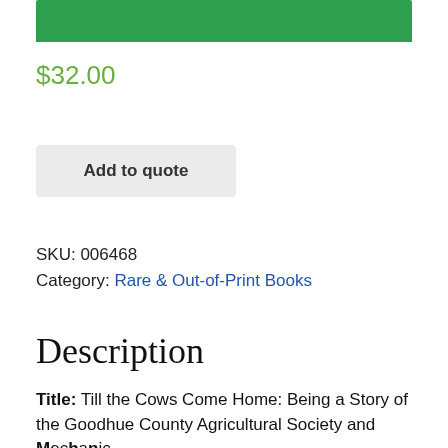[Figure (photo): Green book cover bar at top of page]
$32.00
Add to quote
SKU: 006468
Category: Rare & Out-of-Print Books
Description
Title: Till the Cows Come Home: Being a Story of the Goodhue County Agricultural Society and Mechanic's Institute Annual Fair...